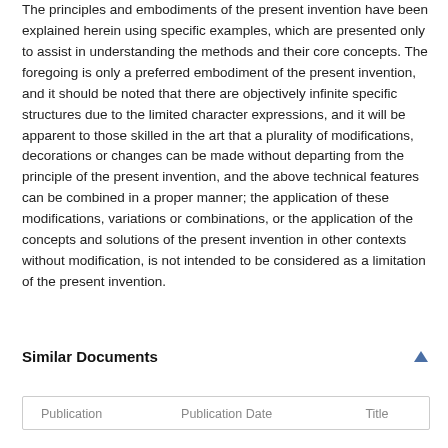The principles and embodiments of the present invention have been explained herein using specific examples, which are presented only to assist in understanding the methods and their core concepts. The foregoing is only a preferred embodiment of the present invention, and it should be noted that there are objectively infinite specific structures due to the limited character expressions, and it will be apparent to those skilled in the art that a plurality of modifications, decorations or changes can be made without departing from the principle of the present invention, and the above technical features can be combined in a proper manner; the application of these modifications, variations or combinations, or the application of the concepts and solutions of the present invention in other contexts without modification, is not intended to be considered as a limitation of the present invention.
Similar Documents
| Publication | Publication Date | Title |
| --- | --- | --- |